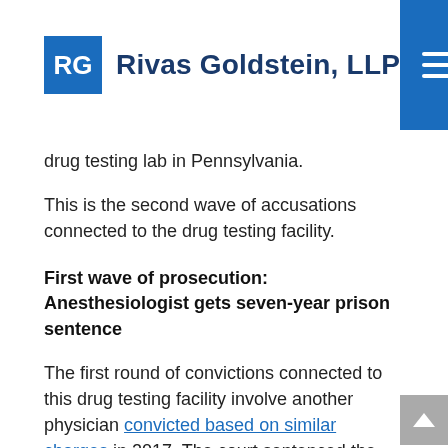Rivas Goldstein, LLP
drug testing lab in Pennsylvania.
This is the second wave of accusations connected to the drug testing facility.
First wave of prosecution: Anesthesiologist gets seven-year prison sentence
The first round of convictions connected to this drug testing facility involve another physician convicted based on similar charges in 2017. The court sentenced the physician to seven years imprisonment and ordered he pay Health and Human Services $2,300,000.00 in restitution.
The DOJ accused the physician of receiving bribes and